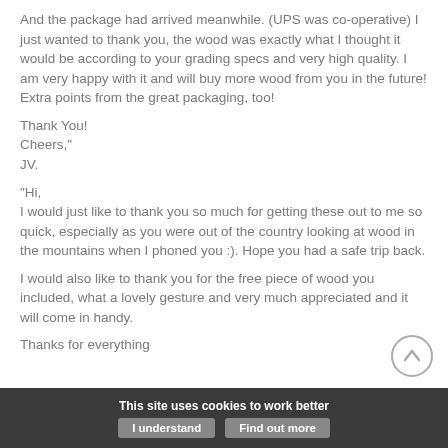And the package had arrived meanwhile. (UPS was co-operative) I just wanted to thank you, the wood was exactly what I thought it would be according to your grading specs and very high quality. I am very happy with it and will buy more wood from you in the future! Extra points from the great packaging, too!
Thank You!
Cheers,"
JV.
“Hi,
I would just like to thank you so much for getting these out to me so quick, especially as you were out of the country looking at wood in the mountains when I phoned you :). Hope you had a safe trip back.
I would also like to thank you for the free piece of wood you included, what a lovely gesture and very much appreciated and it will come in handy.
Thanks for everything
This site uses cookies to work better | I understand | Find out more